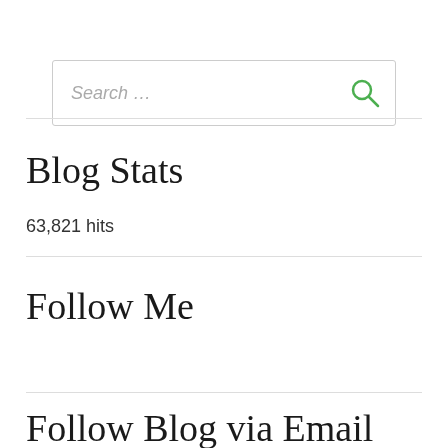[Figure (screenshot): Search input box with placeholder text 'Search ...' and a green magnifying glass icon on the right]
Blog Stats
63,821 hits
Follow Me
Follow Blog via Email